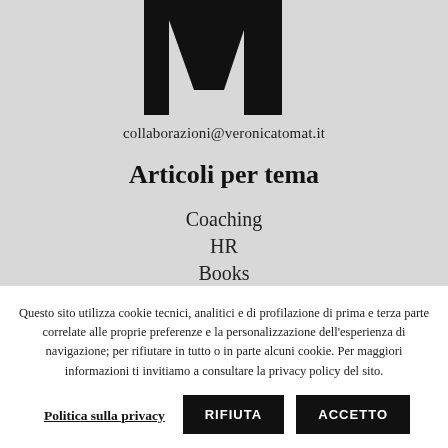[Figure (logo): Partial large black letter M logo on light grey background]
collaborazioni@veronicatomat.it
Articoli per tema
Coaching
HR
Books
Questo sito utilizza cookie tecnici, analitici e di profilazione di prima e terza parte correlate alle proprie preferenze e la personalizzazione dell'esperienza di navigazione; per rifiutare in tutto o in parte alcuni cookie. Per maggiori informazioni ti invitiamo a consultare la privacy policy del sito.
Politica sulla privacy | RIFIUTA | ACCETTO